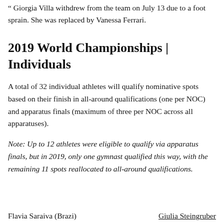" Giorgia Villa withdrew from the team on July 13 due to a foot sprain. She was replaced by Vanessa Ferrari.
2019 World Championships | Individuals
A total of 32 individual athletes will qualify nominative spots based on their finish in all-around qualifications (one per NOC) and apparatus finals (maximum of three per NOC across all apparatuses).
Note: Up to 12 athletes were eligible to qualify via apparatus finals, but in 2019, only one gymnast qualified this way, with the remaining 11 spots reallocated to all-around qualifications.
Flavia Saraiva (Brazi)
Giulia Steingruber